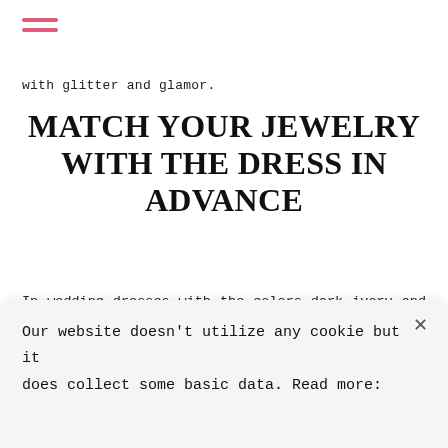with glitter and glamor.
MATCH YOUR JEWELRY WITH THE DRESS IN ADVANCE
In wedding dresses with the colors dark ivory and champagne, gold jewelry often comes out better than silver jewelry. With gold jewelry, you bring out the warm tones nicely. If you're wearing a dress with a rhinestone edge, I wouldn't opt for a pearl necklace. Choose a necklace with Swarovski or Zirconia stones
Our website doesn't utilize any cookie but it does collect some basic data. Read more: